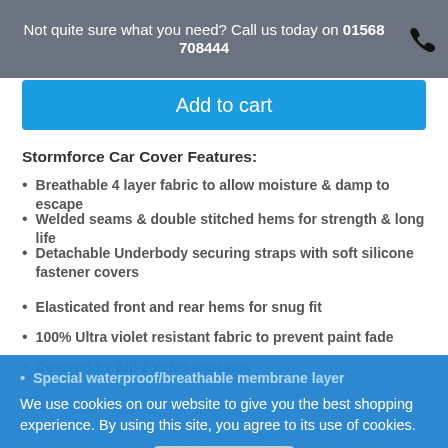Not quite sure what you need? Call us today on 01568 708444
Add to cart
Stormforce Car Cover Features:
Breathable 4 layer fabric to allow moisture & damp to escape
Welded seams & double stitched hems for strength & long life
Detachable Underbody securing straps with soft silicone fastener covers
Elasticated front and rear hems for snug fit
100% Ultra violet resistant fabric to prevent paint fade
Special waterproof/breathable membrane layer
We use cookies on our website to give you the best shopping experience. By using this site, you agree to its use of cookies.
Covered by full 2 Years warranty
Stormforce covers are our top range cover and are suitable for both